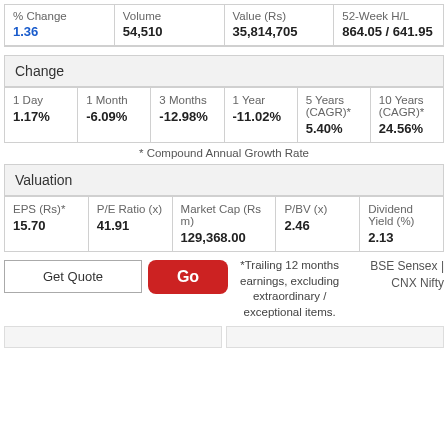| % Change | Volume | Value (Rs) | 52-Week H/L |
| --- | --- | --- | --- |
| 1.36 | 54,510 | 35,814,705 | 864.05 / 641.95 |
| Change |  |  |  |  |  |
| --- | --- | --- | --- | --- | --- |
| 1 Day
1.17% | 1 Month
-6.09% | 3 Months
-12.98% | 1 Year
-11.02% | 5 Years (CAGR)*
5.40% | 10 Years (CAGR)*
24.56% |
* Compound Annual Growth Rate
| Valuation |  |  |  |  |
| --- | --- | --- | --- | --- |
| EPS (Rs)*
15.70 | P/E Ratio (x)
41.91 | Market Cap (Rs m)
129,368.00 | P/BV (x)
2.46 | Dividend Yield (%)
2.13 |
Get Quote | Go | *Trailing 12 months earnings, excluding extraordinary / exceptional items. | BSE Sensex | CNX Nifty